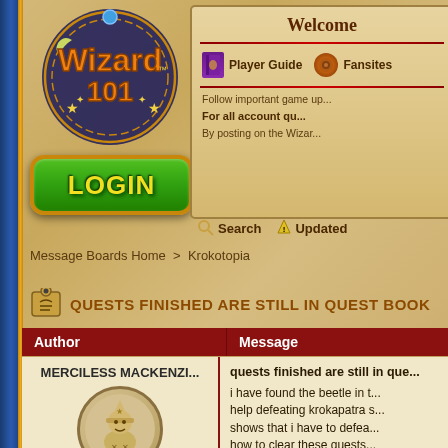[Figure (logo): Wizard101 game logo with decorative text and stars]
Welcome
Player Guide
Fansites
Follow important game up...
For all account qu...
By posting on the Wizar...
Search   Updated
LOGIN
Message Boards Home > Krokotopia
QUESTS FINISHED ARE STILL IN QUEST BOOK
| Author | Message |
| --- | --- |
| MERCILESS MACKENZI... | quests finished are still in que...

i have found the beetle in t... help defeating krokapatra s... shows that i have to defea... how to clear these quests... |
[Figure (illustration): Avatar character - circle portrait with cartoon wizard character]